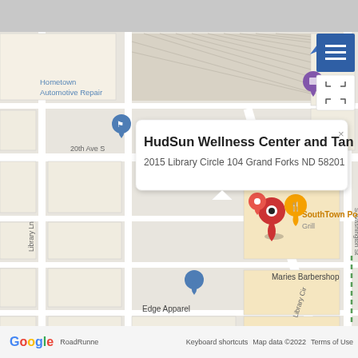[Figure (map): Google Maps screenshot showing HudSun Wellness Center and Tan at 2015 Library Circle 104 Grand Forks ND 58201, with nearby landmarks including Hometown Automotive Repair, SouthTown PourHouse Grill, Maries Barbershop, Edge Apparel, Grand Forks Public Library, Aaron's Furniture store, and Avery T. Jones OD. Streets visible include 20th Ave S, Library Ln, Library Cir, and S Washington St.]